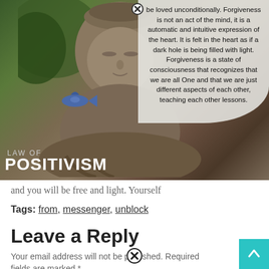[Figure (photo): Photo of a stone Buddha statue with fish and plants in background, overlaid with a translucent text bubble containing a quote about forgiveness and consciousness, and 'LAW OF POSITIVISM' branding at the bottom left.]
and you will be free and light. Yourself
Tags: from, messenger, unblock
Leave a Reply
Your email address will not be published. Required fields are marked *